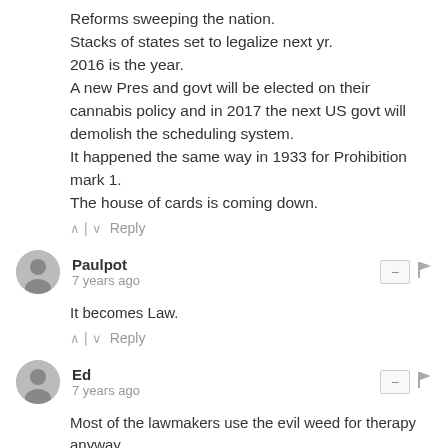Reforms sweeping the nation.
Stacks of states set to legalize next yr.
2016 is the year.
A new Pres and govt will be elected on their cannabis policy and in 2017 the next US govt will demolish the scheduling system.
It happened the same way in 1933 for Prohibition mark 1.
The house of cards is coming down.
^ | v  Reply
Paulpot
7 years ago
It becomes Law.
^ | v  Reply
Ed
7 years ago
Most of the lawmakers use the evil weed for therapy anyway.
Prohibition is just wrong.
It's to bad we need these laws in the first place.
It's somewhat interesting and always entertaining though